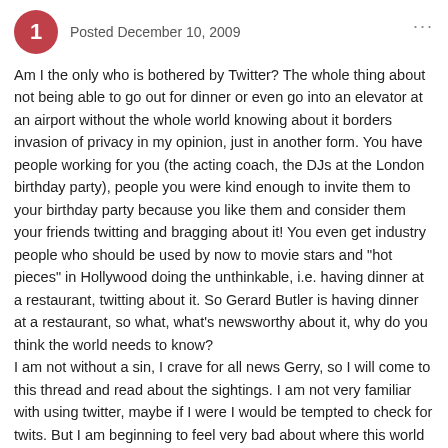Posted December 10, 2009
Am I the only who is bothered by Twitter? The whole thing about not being able to go out for dinner or even go into an elevator at an airport without the whole world knowing about it borders invasion of privacy in my opinion, just in another form. You have people working for you (the acting coach, the DJs at the London birthday party), people you were kind enough to invite them to your birthday party because you like them and consider them your friends twitting and bragging about it! You even get industry people who should be used by now to movie stars and "hot pieces" in Hollywood doing the unthinkable, i.e. having dinner at a restaurant, twitting about it. So Gerard Butler is having dinner at a restaurant, so what, what's newsworthy about it, why do you think the world needs to know?
I am not without a sin, I crave for all news Gerry, so I will come to this thread and read about the sightings. I am not very familiar with using twitter, maybe if I were I would be tempted to check for twits. But I am beginning to feel very bad about where this world has come to, just because the technology has made it possible. So now we are in a position to know when Gerry left Scotland, if he's stopped in LA on the way to Dubai and all this